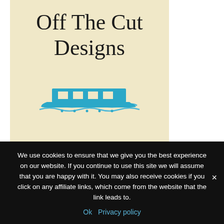[Figure (logo): Off The Cut Designs logo: cursive text 'Off The Cut Designs' on a cream/beige background above a teal houseboat illustration with waves]
We use cookies to ensure that we give you the best experience on our website. If you continue to use this site we will assume that you are happy with it. You may also receive cookies if you click on any affiliate links, which come from the website that the link leads to.
Ok  Privacy policy